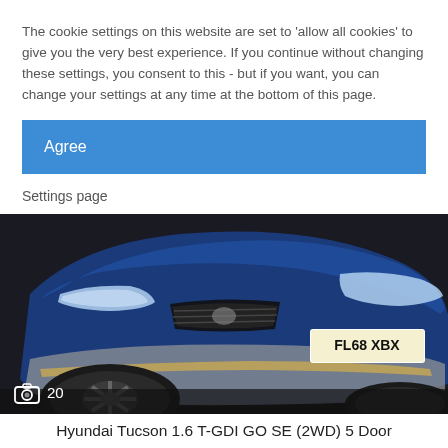The cookie settings on this website are set to 'allow all cookies' to give you the very best experience. If you continue without changing these settings, you consent to this - but if you want, you can change your settings at any time at the bottom of this page.
Agree
Settings page
[Figure (photo): Front view of a blue Hyundai Tucson with UK registration plate FL68 XBX, photographed in a studio/dark background. A camera icon with the number 20 is overlaid at the bottom left.]
Hyundai Tucson 1.6 T-GDI GO SE (2WD) 5 Door
£18,990   30,591 miles   December 2018
FL68 XBX
Sturgess Hyundai - Leicester